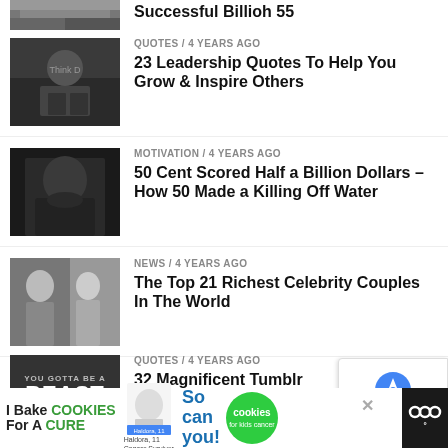[Figure (photo): Partial view of first article thumbnail (money/bills image, cropped at top)]
QUOTES / 4 years ago
23 Leadership Quotes To Help You Grow & Inspire Others
[Figure (photo): Man in suit holding an apple, Steve Jobs style photo]
MOTIVATION / 4 years ago
50 Cent Scored Half a Billion Dollars – How 50 Made a Killing Off Water
[Figure (photo): 50 Cent portrait photo in dark jacket]
NEWS / 4 years ago
The Top 21 Richest Celebrity Couples In The World
[Figure (photo): Celebrity couple sitting together photo]
QUOTES / 4 years ago
32 Magnificent Tumblr Picture Quotes That Motivate & Inspire You
[Figure (photo): Motivational quote image: YOU GOTTA BE A BEAST THAT'S THE ONLY WAY THEY'LL RESPECT YOU]
QUOTES / 4 years ago
36 Strength & Courage Quotes To Build You Up
[Figure (photo): Dark image with orange floral/fire element]
[Figure (screenshot): Ad banner: I Bake COOKIES For A CURE - Haldora, 11 Cancer Survivor / So can you! - cookies for kids cancer logo]
[Figure (logo): reCAPTCHA badge overlay with Privacy - Terms text]
[Figure (logo): Site logo WWW with circular dots in dark bar at right]